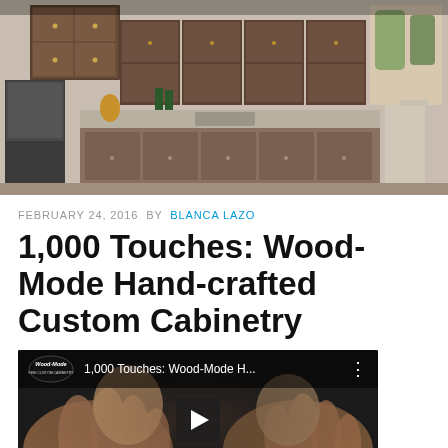[Figure (photo): Kitchen with dark wood cabinetry and large stone island countertop]
FEBRUARY 24, 2016  BY  BLANCA LAZO
1,000 Touches: Wood-Mode Hand-crafted Custom Cabinetry
[Figure (screenshot): YouTube video thumbnail showing two people with hands extended, titled '1,000 Touches: Wood-Mode H...' with Wood-Mode logo and play button]